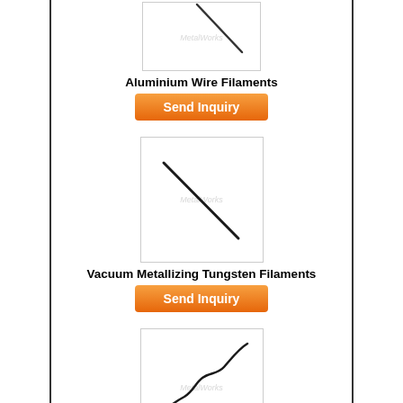[Figure (illustration): Product image of Aluminium Wire Filaments showing a thin diagonal wire/filament on white background with MetalWorks watermark]
Aluminium Wire Filaments
[Figure (other): Orange 'Send Inquiry' button]
[Figure (illustration): Product image of Vacuum Metallizing Tungsten Filaments showing a diagonal straight wire on white background with MetalWorks watermark]
Vacuum Metallizing Tungsten Filaments
[Figure (other): Orange 'Send Inquiry' button]
[Figure (illustration): Product image of Vacuum Metalling Tungsten Filament showing a wavy/kinked wire on white background with MetalWorks watermark]
Vacuum Metalling Tungsten Filament